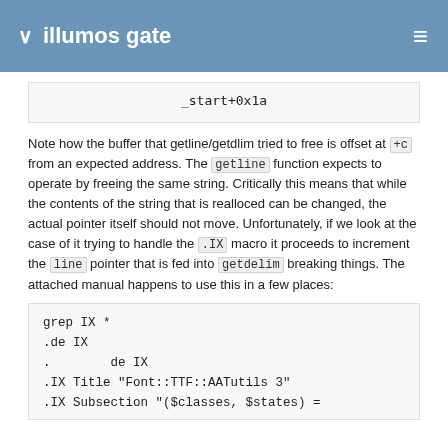illumos gate
[Figure (screenshot): Code block showing _start+0x1a]
Note how the buffer that getline/getdlim tried to free is offset at +c from an expected address. The getline function expects to operate by freeing the same string. Critically this means that while the contents of the string that is realloced can be changed, the actual pointer itself should not move. Unfortunately, if we look at the case of it trying to handle the .IX macro it proceeds to increment the line pointer that is fed into getdelim breaking things. The attached manual happens to use this in a few places:
[Figure (screenshot): Code block showing: grep IX *
.de IX
.         de IX
.IX Title "Font::TTF::AATutils 3"
.IX Subsection "($classes, $states) =]